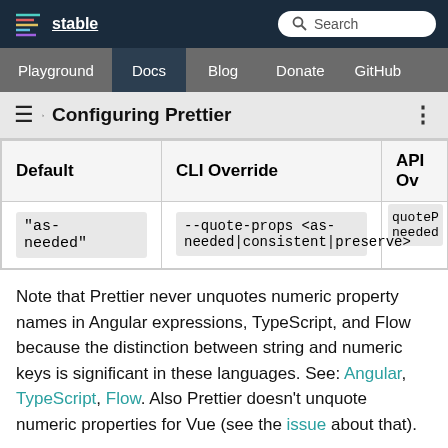stable   Search   Playground  Docs  Blog  Donate  GitHub
≡ › Configuring Prettier
| Default | CLI Override | API Ov |
| --- | --- | --- |
| "as-needed" | --quote-props <as-needed|consistent|preserve> | quoteProps: "as-needed" |
Note that Prettier never unquotes numeric property names in Angular expressions, TypeScript, and Flow because the distinction between string and numeric keys is significant in these languages. See: Angular, TypeScript, Flow. Also Prettier doesn't unquote numeric properties for Vue (see the issue about that).
If this option is set to preserve , singleQuote to